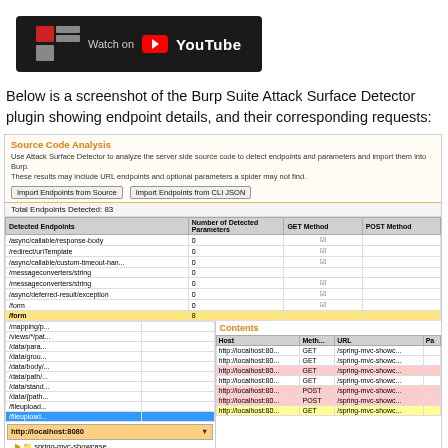[Figure (screenshot): YouTube thumbnail with Secure Decisions logo and 'Watch on YouTube' button]
Below is a screenshot of the Burp Suite Attack Surface Detector plugin showing endpoint details, and their corresponding requests:
[Figure (screenshot): Screenshot of Burp Suite Attack Surface Detector plugin showing Source Code Analysis panel with endpoint table and tree view. Total Endpoints Detected: 83. Endpoints listed include /async/callable/response-body, /redirect/uriTemplate, /async/callable/custom-timeout-han..., /messageconverters/string (x2), /async/deferred-result/exception, /form (x2). Contents panel shows HTTP requests to http://localhost:80... with GET and POST methods to /spring-mvc-showc... URLs.]